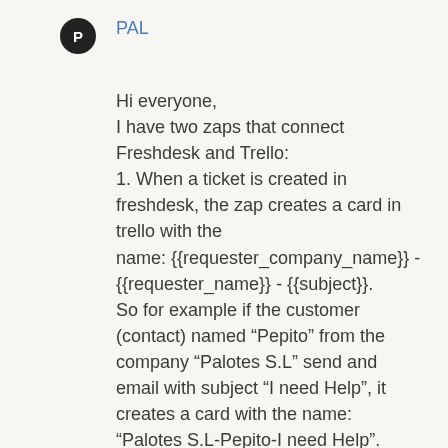PAL
Hi everyone,
I have two zaps that connect Freshdesk and Trello:
1. When a ticket is created in freshdesk, the zap creates a card in trello with the
name: {{requester_company_name}} - {{requester_name}} - {{subject}}.
So for example if the customer (contact) named “Pepito” from the company “Palotes S.L” send and email with subject “I need Help”, it creates a card with the name:
“Palotes S.L-Pepito-I need Help”.
2. When a ticket is updated by an